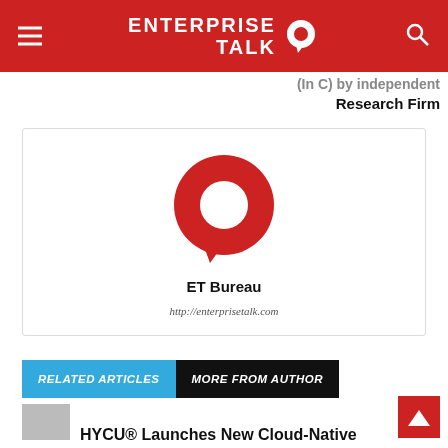ENTERPRISE TALK
(In C) by independent Research Firm
[Figure (logo): Enterprise Talk red speech-bubble logo icon — red circle with white hole and red speech bubble tail]
ET Bureau
http://enterprisetalk.com
RELATED ARTICLES   MORE FROM AUTHOR
HYCU® Launches New Cloud-Native